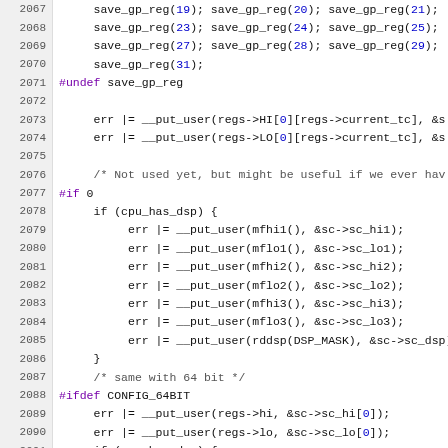[Figure (screenshot): Source code listing in C/C++ with line numbers 2067-2091, showing save_gp_reg calls, #undef, err |= __put_user calls, #if 0 block with cpu_has_dsp, #ifdef CONFIG_64BIT block.]